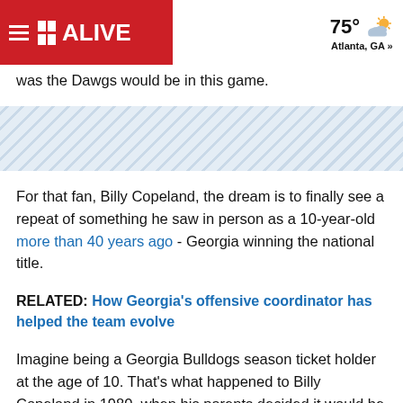11 ALIVE | 75° Atlanta, GA »
was the Dawgs would be in this game.
[Figure (other): Diagonal striped advertisement/divider band]
For that fan, Billy Copeland, the dream is to finally see a repeat of something he saw in person as a 10-year-old more than 40 years ago - Georgia winning the national title.
RELATED: How Georgia's offensive coordinator has helped the team evolve
Imagine being a Georgia Bulldogs season ticket holder at the age of 10. That's what happened to Billy Copeland in 1980, when his parents decided it would be cheaper to buy extra tickets and take him to games rather than pay a babysitter to stay home with him.